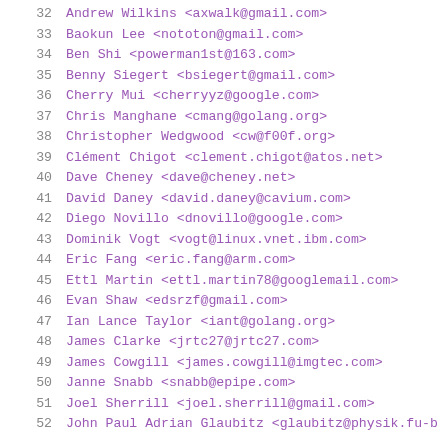32  Andrew Wilkins <axwalk@gmail.com>
33  Baokun Lee <nototon@gmail.com>
34  Ben Shi <powerman1st@163.com>
35  Benny Siegert <bsiegert@gmail.com>
36  Cherry Mui <cherryyz@google.com>
37  Chris Manghane <cmang@golang.org>
38  Christopher Wedgwood <cw@f00f.org>
39  Clément Chigot <clement.chigot@atos.net>
40  Dave Cheney <dave@cheney.net>
41  David Daney <david.daney@cavium.com>
42  Diego Novillo <dnovillo@google.com>
43  Dominik Vogt <vogt@linux.vnet.ibm.com>
44  Eric Fang <eric.fang@arm.com>
45  Ettl Martin <ettl.martin78@googlemail.com>
46  Evan Shaw <edsrzf@gmail.com>
47  Ian Lance Taylor <iant@golang.org>
48  James Clarke <jrtc27@jrtc27.com>
49  James Cowgill <james.cowgill@imgtec.com>
50  Janne Snabb <snabb@epipe.com>
51  Joel Sherrill <joel.sherrill@gmail.com>
52  John Paul Adrian Glaubitz <glaubitz@physik.fu-b